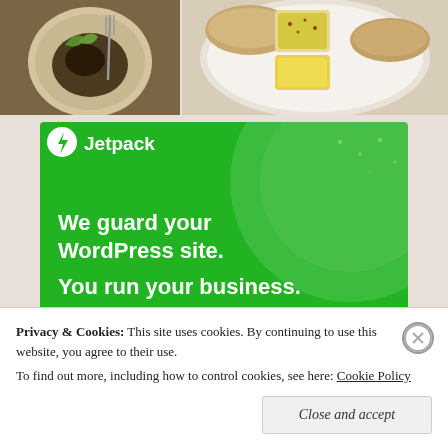[Figure (photo): Two food photos side by side: left shows a plate with a meal with fork, right shows bread rolls with dipping oil and condiments on a white plate]
[Figure (infographic): Jetpack advertisement banner on green background. Jetpack logo with lightning bolt icon. Text: We guard your WordPress site. You run your business. Button: Secure Your Site]
Privacy & Cookies: This site uses cookies. By continuing to use this website, you agree to their use. To find out more, including how to control cookies, see here: Cookie Policy
Close and accept